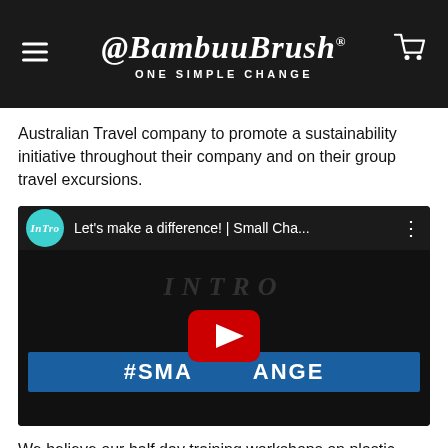@BambuuBrush ONE SIMPLE CHANGE
Australian Travel company to promote a sustainability initiative throughout their company and on their group travel excursions.
[Figure (screenshot): YouTube video thumbnail for 'Let's make a difference! | Small Cha...' with an Intro channel icon (teal circle with italic 'Intro' text), dark background showing 'INTRO' text and '#SMA...ANGE' banner, with a red YouTube play button in the center.]
We believe our half day training workshops on plastic pollution and